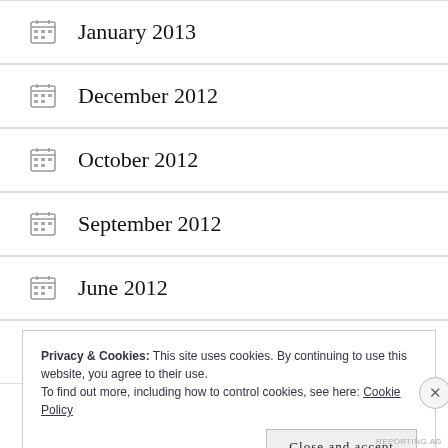January 2013
December 2012
October 2012
September 2012
June 2012
May 2012
Privacy & Cookies: This site uses cookies. By continuing to use this website, you agree to their use.
To find out more, including how to control cookies, see here: Cookie Policy
Close and accept